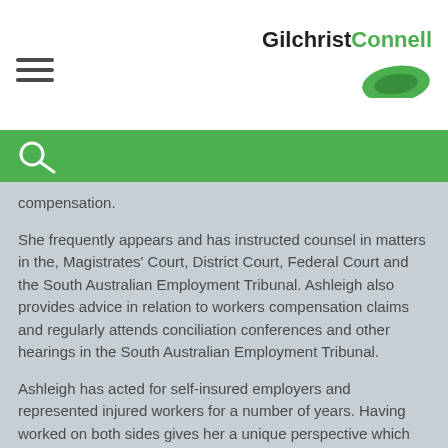Gilchrist Connell
compensation.
She frequently appears and has instructed counsel in matters in the, Magistrates' Court, District Court, Federal Court and the South Australian Employment Tribunal. Ashleigh also provides advice in relation to workers compensation claims and regularly attends conciliation conferences and other hearings in the South Australian Employment Tribunal.
Ashleigh has acted for self-insured employers and represented injured workers for a number of years. Having worked on both sides gives her a unique perspective which allows her to recommend and